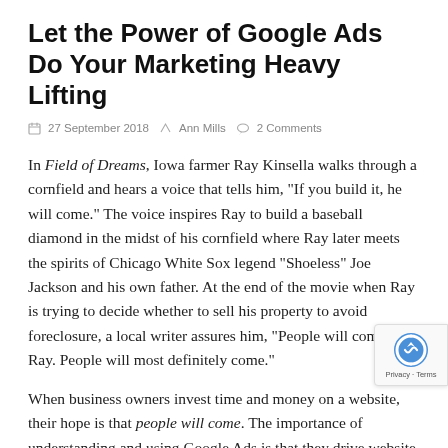Let the Power of Google Ads Do Your Marketing Heavy Lifting
27 September 2018   Ann Mills   2 Comments
In Field of Dreams, Iowa farmer Ray Kinsella walks through a cornfield and hears a voice that tells him, "If you build it, he will come." The voice inspires Ray to build a baseball diamond in the midst of his cornfield where Ray later meets the spirits of Chicago White Sox legend "Shoeless" Joe Jackson and his own father. At the end of the movie when Ray is trying to decide whether to sell his property to avoid foreclosure, a local writer assures him, "People will come, Ray. People will most definitely come."
When business owners invest time and money on a website, their hope is that people will come. The importance of understanding and using Google Ads is that they drive website traffic and ensure people most definitely come. Once